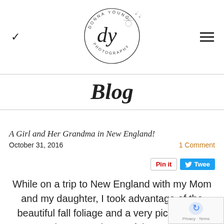[Figure (logo): Donna Young Photography circular logo with script 'dy' lettering and dandelion illustration]
Blog
A Girl and Her Grandma in New England!
October 31, 2016
1 Comment
While on a trip to New England with my Mom and my daughter, I took advantage of the beautiful fall foliage and a very picturesque spot to take some photos of the two of them. My loves to get photos with my daughter and I know